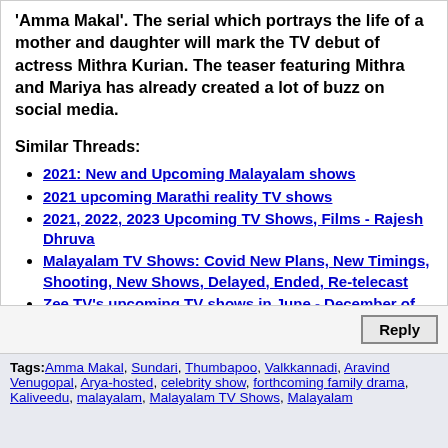'Amma Makal'. The serial which portrays the life of a mother and daughter will mark the TV debut of actress Mithra Kurian. The teaser featuring Mithra and Mariya has already created a lot of buzz on social media.
Similar Threads:
2021: New and Upcoming Malayalam shows
2021 upcoming Marathi reality TV shows
2021, 2022, 2023 Upcoming TV Shows, Films - Rajesh Dhruva
Malayalam TV Shows: Covid New Plans, New Timings, Shooting, New Shows, Delayed, Ended, Re-telecast
Zee TV's upcoming TV shows in June - December of 2020
Reply
Tags: Amma Makal, Sundari, Thumbapoo, Valkkannadi, Aravind Venugopal, Arya-hosted, celebrity show, forthcoming family drama, Kaliveedu, malayalam, Malayalam TV Shows, Malayalam...